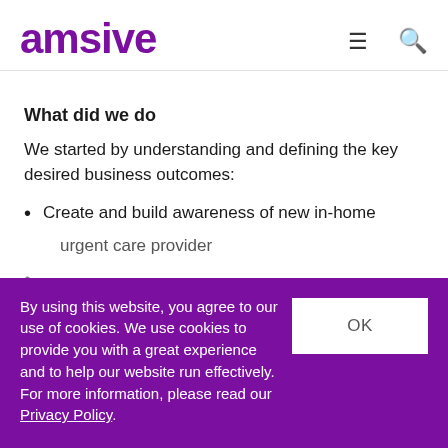amsive
What did we do
We started by understanding and defining the key desired business outcomes:
Create and build awareness of new in-home urgent care provider
By using this website, you agree to our use of cookies. We use cookies to provide you with a great experience and to help our website run effectively. For more information, please read our Privacy Policy.